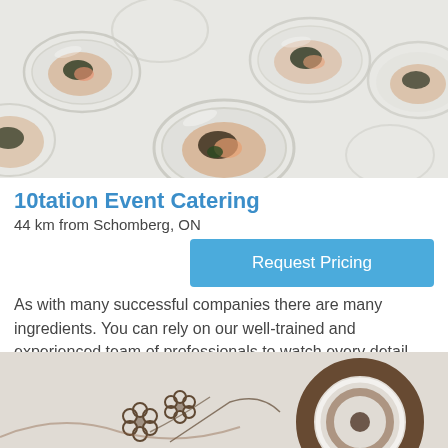[Figure (photo): Top-down photo of multiple small glass bowls containing Japanese-style appetizers with seaweed, salmon, and caviar garnish on a white background]
10tation Event Catering
44 km from Schomberg, ON
Request Pricing
As with many successful companies there are many ingredients. You can rely on our well-trained and experienced team of professionals to watch every detail and make your event a success. From start to finish, we can provide everything you
[Figure (photo): Close-up photo of chocolate dessert decorations with floral patterns and spiral designs]